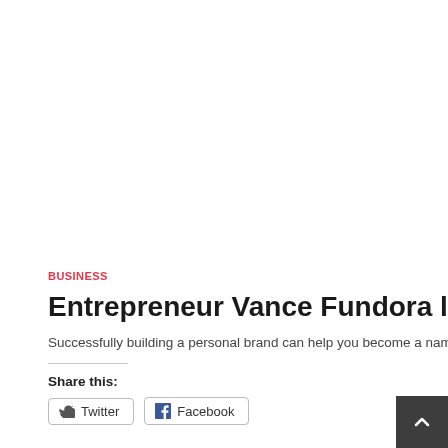BUSINESS
Entrepreneur Vance Fundora lists 5 Exp
Successfully building a personal brand can help you become a name to
Share this:
Twitter
Facebook